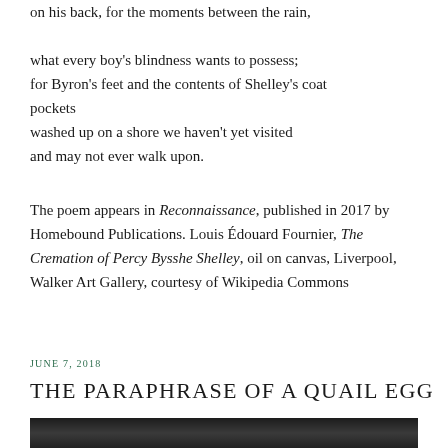on his back, for the moments between the rain,

what every boy's blindness wants to possess;
for Byron's feet and the contents of Shelley's coat pockets
washed up on a shore we haven't yet visited
and may not ever walk upon.
The poem appears in Reconnaissance, published in 2017 by Homebound Publications. Louis Édouard Fournier, The Cremation of Percy Bysshe Shelley, oil on canvas, Liverpool, Walker Art Gallery, courtesy of Wikipedia Commons
JUNE 7, 2018
THE PARAPHRASE OF A QUAIL EGG
[Figure (photo): Dark photograph, partially visible at bottom of page]